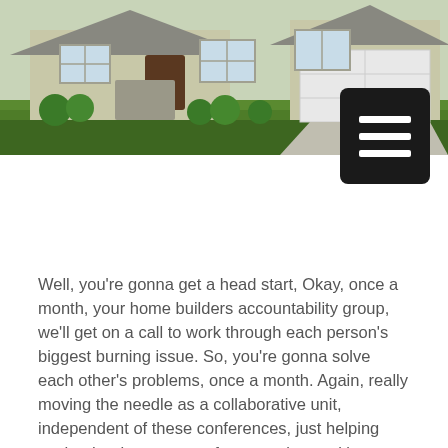[Figure (photo): Exterior photo of a suburban single-family home with stone and siding facade, manicured lawn, and garage. A dark hamburger menu button overlays the lower-right of the image.]
Well, you're gonna get a head start, Okay, once a month, your home builders accountability group, we'll get on a call to work through each person's biggest burning issue. So, you're gonna solve each other's problems, once a month. Again, really moving the needle as a collaborative unit, independent of these conferences, just helping each other between conferences. 'cause it's once every three months, right?
So I can keep going down the path of how much this stuff is worth for new home construction, but I think you get it right. I won't tell you that. A program like this, usually cost at least 1000 a month, 12-000 per year, but it does so lesson this right here is included, but a counterfeit bill that he, he… That's actually how you execute. So…